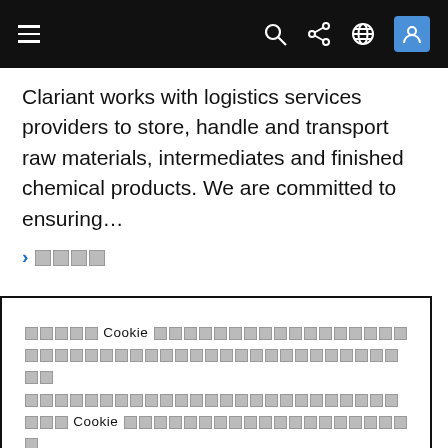Navigation bar with hamburger menu and icons (search, share, globe, user)
Clariant works with logistics services providers to store, handle and transport raw materials, intermediates and finished chemical products. We are committed to ensuring…
> 詳細 (Read more link in Japanese/CJK)
Cookie banner text in CJK characters referencing Cookie policy
Button: Accept Cookie (CJK characters) Cookie 設定 (settings link)